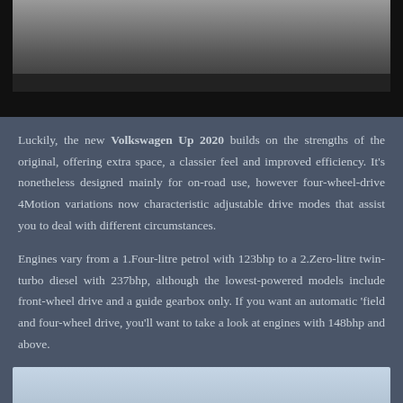[Figure (photo): Top portion of a car photo with red border frame against black background]
Luckily, the new Volkswagen Up 2020 builds on the strengths of the original, offering extra space, a classier feel and improved efficiency. It's nonetheless designed mainly for on-road use, however four-wheel-drive 4Motion variations now characteristic adjustable drive modes that assist you to deal with different circumstances.
Engines vary from a 1.Four-litre petrol with 123bhp to a 2.Zero-litre twin-turbo diesel with 237bhp, although the lowest-powered models include front-wheel drive and a guide gearbox only. If you want an automatic 'field and four-wheel drive, you'll want to take a look at engines with 148bhp and above.
[Figure (photo): Red Volkswagen SUV photographed from the front-left angle on a road with cloudy sky and green fields in the background]